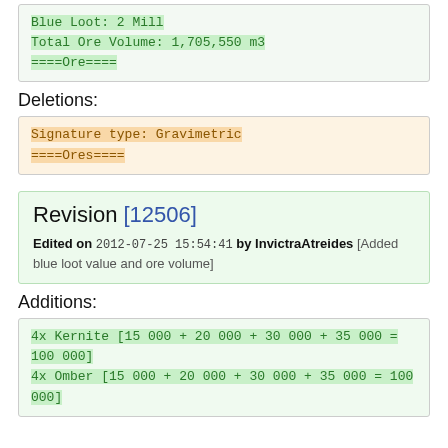Blue Loot: 2 Mill
Total Ore Volume: 1,705,550 m3
====Ore====
Deletions:
Signature type: Gravimetric
====Ores====
Revision [12506]
Edited on 2012-07-25 15:54:41 by InvictraAtreides [Added blue loot value and ore volume]
Additions:
4x Kernite [15 000 + 20 000 + 30 000 + 35 000 = 100 000]
4x Omber [15 000 + 20 000 + 30 000 + 35 000 = 100 000]